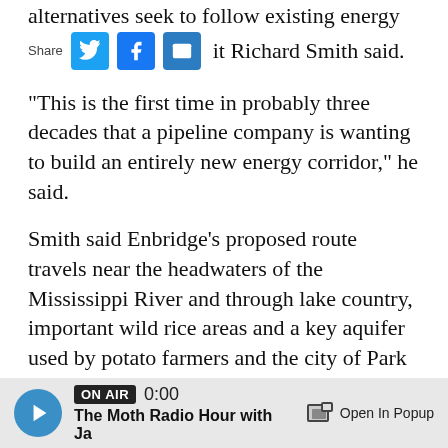alternatives seek to follow existing energy
Share [Twitter] [Facebook] [Email] it Richard Smith said.
"This is the first time in probably three decades that a pipeline company is wanting to build an entirely new energy corridor," he said.
Smith said Enbridge's proposed route travels near the headwaters of the Mississippi River and through lake country, important wild rice areas and a key aquifer used by potato farmers and the city of Park Rapids.
The PUC will hear testimony and could decide whether to consider alternative routes, but a decision on whether the pipeline should be built
ON AIR 0:00 The Moth Radio Hour with Ja Open In Popup